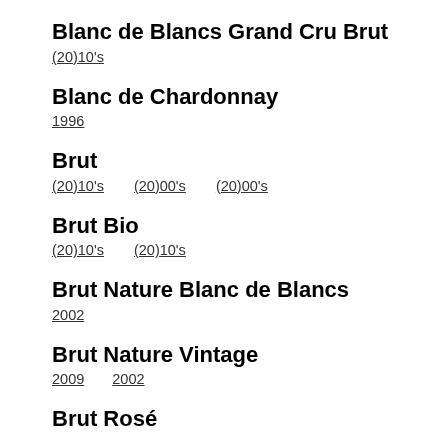Blanc de Blancs Grand Cru Brut
(20)10's
Blanc de Chardonnay
1996
Brut
(20)10's    (20)00's    (20)00's
Brut Bio
(20)10's    (20)10's
Brut Nature Blanc de Blancs
2002
Brut Nature Vintage
2009    2002
Brut Rosé